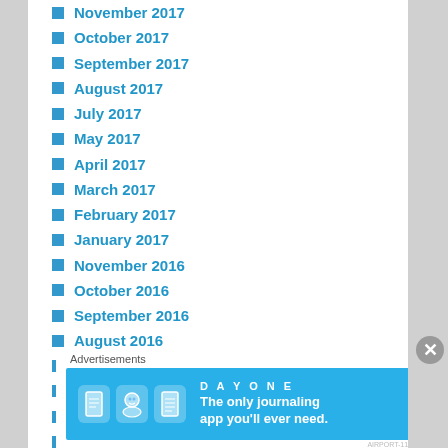November 2017
October 2017
September 2017
August 2017
July 2017
May 2017
April 2017
March 2017
February 2017
January 2017
November 2016
October 2016
September 2016
August 2016
June 2016
May 2016
April 2016
March 2016
Advertisements
[Figure (infographic): DAY ONE journaling app advertisement banner with icons and text: The only journaling app you'll ever need.]